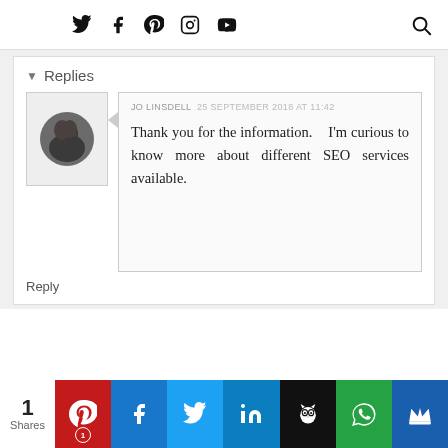Twitter, Facebook, Pinterest, Instagram, YouTube, Search
▾ Replies
JO LINSDELL  25 SEPTEMBER 2018 AT 11:42
Thank you for the information. I'm curious to know more about different SEO services available.
Reply
1 Shares | Pinterest 1 | Facebook | Twitter | LinkedIn | Buffer | WhatsApp | Crown